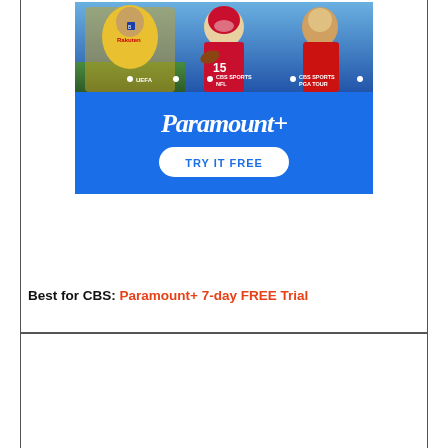[Figure (illustration): Paramount+ advertisement banner with sports imagery (soccer player in yellow Rakuten jersey, NFL player #15, and a golfer in red), blue background with Paramount+ logo in white cursive script, text labels for UEFA, CBS Sports NFL, CBS Sports PGA TOUR, and a white 'TRY IT FREE' button]
Best for CBS: Paramount+ 7-day FREE Trial